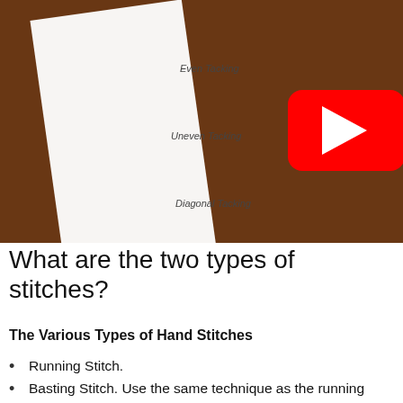[Figure (screenshot): YouTube video thumbnail showing fabric samples with various hand stitches labeled: Even Tacking, Uneven Tacking, Diagonal Tacking, with text 'TEMPORARY STITCH' vertically on a pink strip beside a floral fabric. A red YouTube play button is overlaid in the center.]
What are the two types of stitches?
The Various Types of Hand Stitches
Running Stitch.
Basting Stitch. Use the same technique as the running stitch, but make longer stitches (between 1/4 inch and a 1/2